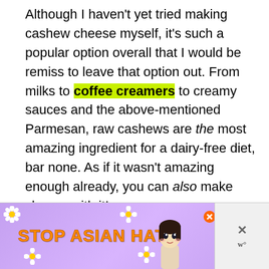Although I haven't yet tried making cashew cheese myself, it's such a popular option overall that I would be remiss to leave that option out. From milks to coffee creamers to creamy sauces and the above-mentioned Parmesan, raw cashews are the most amazing ingredient for a dairy-free diet, bar none. As if it wasn't amazing enough already, you can also make cheese with it!
[Figure (other): Advertisement banner with purple floral background showing 'STOP ASIAN HATE' text in orange, an anime-style character, and close buttons]